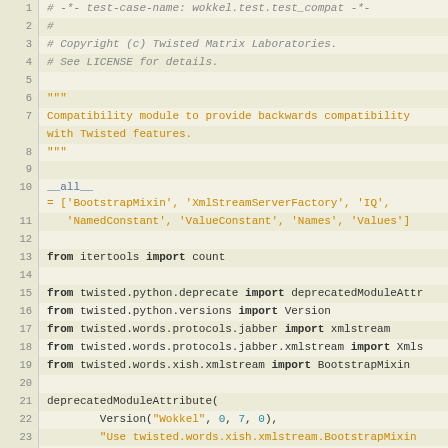[Figure (screenshot): Source code viewer showing Python file wokkel/test/test_compat.py with line numbers 1-29, displaying import statements, module docstring, __all__ definition, and deprecatedModuleAttribute calls.]